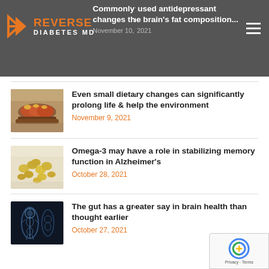Reverse Diabetes MD — Commonly used antidepressant changes the brain's fat composition — November 10, 2021
[Figure (photo): Thumbnail photo of food/hot dogs on a plate]
Even small dietary changes can significantly prolong life & help the environment
November 9, 2021
[Figure (photo): Thumbnail photo of omega-3 fish oil pills/capsules]
Omega-3 may have a role in stabilizing memory function in Alzheimer's
October 28, 2021
[Figure (photo): Thumbnail photo of human body skeleton/gut x-ray illustration]
The gut has a greater say in brain health than thought earlier
October 27, 2021